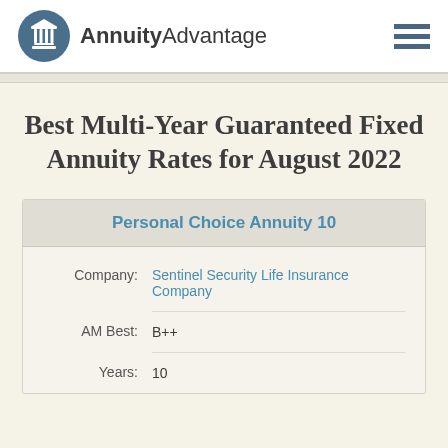AnnuityAdvantage
Best Multi-Year Guaranteed Fixed Annuity Rates for August 2022
| Personal Choice Annuity 10 |
| --- |
| Company: | Sentinel Security Life Insurance Company |
| AM Best: | B++ |
| Years: | 10 |